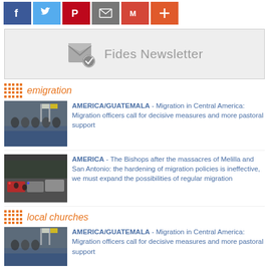[Figure (other): Social media share buttons: Facebook (blue), Twitter (light blue), Pinterest (red), Email/envelope (gray), Gmail (red), More/plus (orange-red)]
[Figure (other): Fides Newsletter banner with envelope icon and checkmark, gray background]
emigration
[Figure (photo): People sitting at a conference table with flags in the background]
AMERICA/GUATEMALA - Migration in Central America: Migration officers call for decisive measures and more pastoral support
[Figure (photo): Street scene with police vehicles and people walking]
AMERICA - The Bishops after the massacres of Melilla and San Antonio: the hardening of migration policies is ineffective, we must expand the possibilities of regular migration
local churches
[Figure (photo): People at a conference setting with flags]
AMERICA/GUATEMALA - Migration in Central America: Migration officers call for decisive measures and more pastoral support